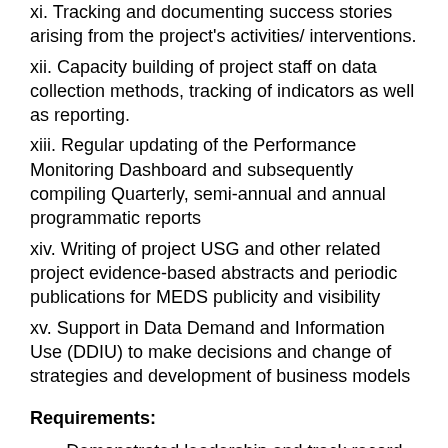xi. Tracking and documenting success stories arising from the project's activities/ interventions.
xii. Capacity building of project staff on data collection methods, tracking of indicators as well as reporting.
xiii. Regular updating of the Performance Monitoring Dashboard and subsequently compiling Quarterly, semi-annual and annual programmatic reports
xiv. Writing of project USG and other related project evidence-based abstracts and periodic publications for MEDS publicity and visibility
xv. Support in Data Demand and Information Use (DDIU) to make decisions and change of strategies and development of business models
Requirements:
Demonstrated leadership and track record of